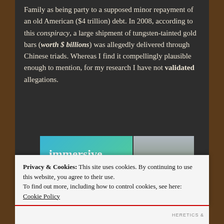Family as being party to a supposed minor repayment of an old American ($4 trillion) debt. In 2008, according to this conspiracy, a large shipment of tungsten-tainted gold bars (worth $ billions) was allegedly delivered through Chinese triads. Whereas I find it compellingly plausible enough to mention, for my research I have not validated allegations.
[Figure (screenshot): Advertisement banner showing 'immersive stories.' text on a teal/green gradient background on the left, and a photo of a person in a yellow jacket on a cliff/waterfall on the right.]
Privacy & Cookies: This site uses cookies. By continuing to use this website, you agree to their use.
To find out more, including how to control cookies, see here: Cookie Policy
Close and accept